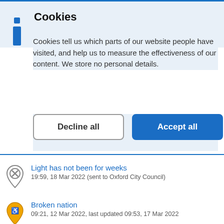Cookies
Cookies tell us which parts of our website people have visited, and help us to measure the effectiveness of our content. We store no personal details.
[Figure (other): Two buttons: 'Decline all' (white background, grey border) and 'Accept all' (blue background, white text)]
Light has not been for weeks
19:59, 18 Mar 2022 (sent to Oxford City Council)
Broken nation
09:21, 12 Mar 2022, last updated 09:53, 17 Mar 2022